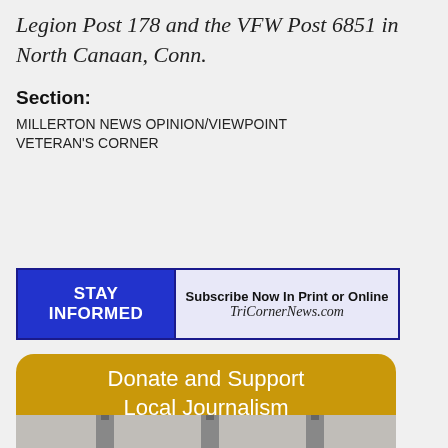Legion Post 178 and the VFW Post 6851 in North Canaan, Conn.
Section:
MILLERTON NEWS OPINION/VIEWPOINT
VETERAN'S CORNER
[Figure (infographic): Stay Informed banner ad with blue left panel reading STAY INFORMED and right panel reading Subscribe Now In Print or Online TriCornerNews.com]
[Figure (infographic): Golden/yellow rounded button reading Donate and Support Local Journalism]
[Figure (photo): Partial photo at bottom of page showing what appears to be lamp posts or microphones]